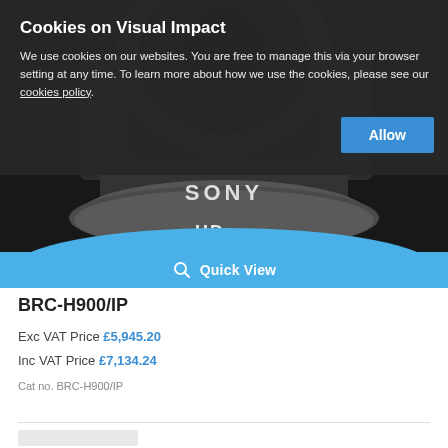[Figure (photo): Sony BRC-H900/IP HD 3CMOS PTZ camera product photo on dark background, showing the camera body with SONY logo, HD label, and 3CMOS text on the base]
Cookies on Visual Impact
We use cookies on our websites. You are free to manage this via your browser setting at any time. To learn more about how we use the cookies, please see our cookies policy.
Allow
Quick View
BRC-H900/IP
Exc VAT Price £5,945.20
Inc VAT Price £7,134.24
Cat no. BRC-H900/IP